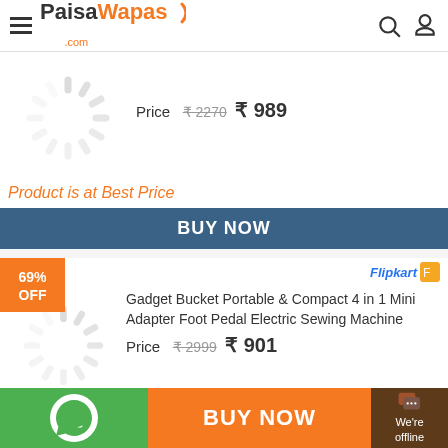PaisaWapas.com
Price ₹2270 ₹989
Product is at Best Price
BUY NOW
69% OFF
Gadget Bucket Portable & Compact 4 in 1 Mini Adapter Foot Pedal Electric Sewing Machine
Price ₹2999 ₹901
Product is at Best Price
BUY NOW
BUY NOW
We're offline